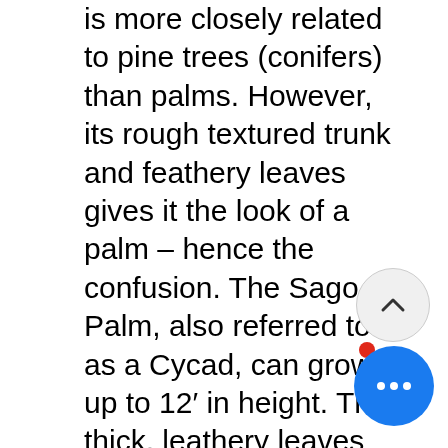is more closely related to pine trees (conifers) than palms. However, its rough textured trunk and feathery leaves gives it the look of a palm – hence the confusion. The Sago Palm, also referred to as a Cycad, can grow up to 12' in height. The thick, leathery leaves are finely segmented and occur in whorls. This circular arrangement creates a very round, symmetrical form. The flowering/fruiting habit of this plant adds to its interest in the landscape. Mature Sagos form reproductive structures at the center of the p Both male and female plants occur, and each has unique reproductive structures.